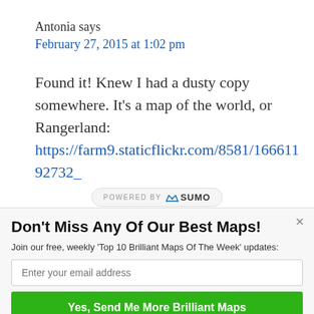Antonia says
February 27, 2015 at 1:02 pm
Found it! Knew I had a dusty copy somewhere. It’s a map of the world, or Rangerland: https://farm9.staticflickr.com/8581/16661192732_
[Figure (logo): POWERED BY SUMO logo badge]
Don’t Miss Any Of Our Best Maps!
Join our free, weekly ‘Top 10 Brilliant Maps Of The Week’ updates:
Enter your email address
Yes, Send Me More Brilliant Maps